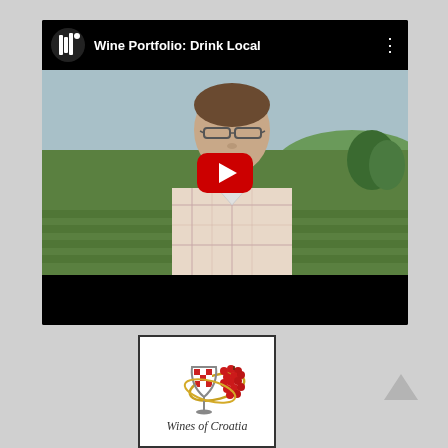[Figure (screenshot): YouTube video thumbnail showing a man wearing glasses and a plaid shirt standing in front of a vineyard landscape. The video title reads 'Wine Portfolio: Drink Local'. A red YouTube play button is overlaid in the center. The video player has a black top bar with the YouTube logo and title, and a black bottom bar.]
[Figure (logo): Wines of Croatia logo showing a wine glass with a Croatian checkerboard pattern, surrounded by red grape clusters and a golden ribbon/oval shape, with text 'Wines of Croatia' below.]